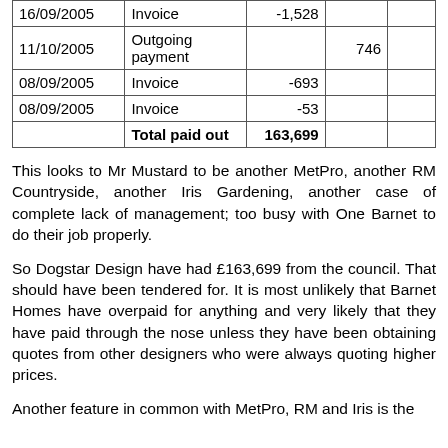| Date | Type | Amount |  |  |
| --- | --- | --- | --- | --- |
| 16/09/2005 | Invoice | -1,528 |  |  |
| 11/10/2005 | Outgoing payment |  | 746 |  |
| 08/09/2005 | Invoice | -693 |  |  |
| 08/09/2005 | Invoice | -53 |  |  |
|  | Total paid out | 163,699 |  |  |
This looks to Mr Mustard to be another MetPro, another RM Countryside, another Iris Gardening, another case of complete lack of management; too busy with One Barnet to do their job properly.
So Dogstar Design have had £163,699 from the council. That should have been tendered for. It is most unlikely that Barnet Homes have overpaid for anything and very likely that they have paid through the nose unless they have been obtaining quotes from other designers who were always quoting higher prices.
Another feature in common with MetPro, RM and Iris is the